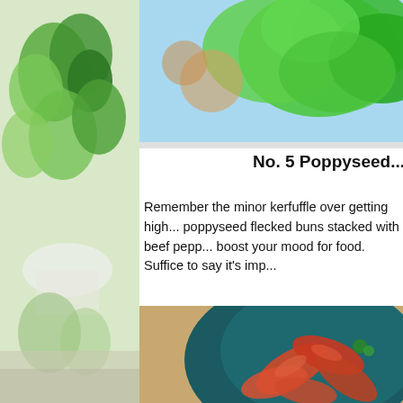[Figure (photo): Left sidebar with green herbs and plants]
[Figure (photo): Top right image of green lettuce/vegetables on light blue background]
No. 5 Poppyseed...
Remember the minor kerfuffle over getting high... poppyseed flecked buns stacked with beef pepp... boost your mood for food. Suffice to say it's imp...
[Figure (photo): Bottom right image of cooked shrimp/prawns in a dark teal bowl]